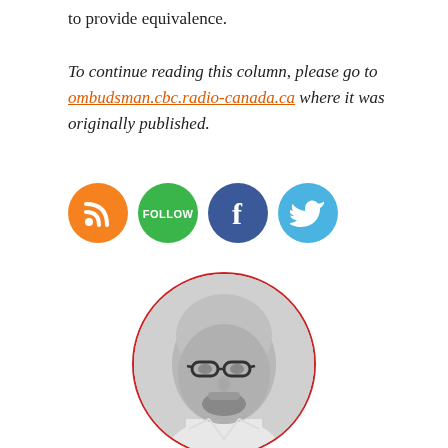to provide equivalence.

To continue reading this column, please go to ombudsman.cbc.radio-canada.ca where it was originally published.
[Figure (infographic): Four social media icon circles in a row: RSS (orange), Follow (green), Facebook (dark blue), Twitter (light blue)]
[Figure (photo): Circular black-and-white portrait photo of a bald man wearing glasses, with a beard, looking slightly upward, outlined with a red circle border]
Many